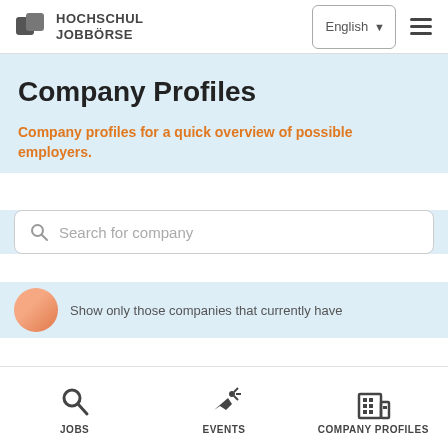[Figure (logo): Hochschul Jobbörse logo with two overlapping grey squares icon and text HOCHSCHUL JOBBÖRSE]
Company Profiles
Company profiles for a quick overview of possible employers.
Search for company
Show only those companies that currently have
JOBS | EVENTS | COMPANY PROFILES